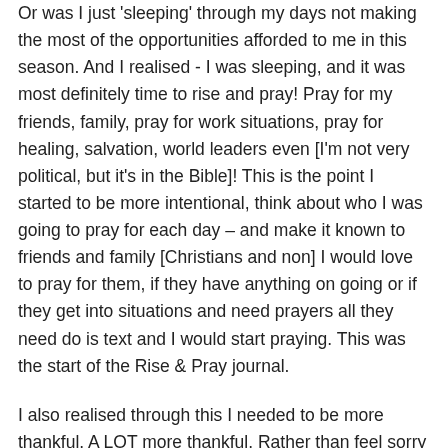Or was I just 'sleeping' through my days not making the most of the opportunities afforded to me in this season. And I realised - I was sleeping, and it was most definitely time to rise and pray! Pray for my friends, family, pray for work situations, pray for healing, salvation, world leaders even [I'm not very political, but it's in the Bible]! This is the point I started to be more intentional, think about who I was going to pray for each day – and make it known to friends and family [Christians and non] I would love to pray for them, if they have anything on going or if they get into situations and need prayers all they need do is text and I would start praying. This was the start of the Rise & Pray journal.
I also realised through this I needed to be more thankful. A LOT more thankful. Rather than feel sorry for myself being 'reduced' to nappies I really should be appreciating the